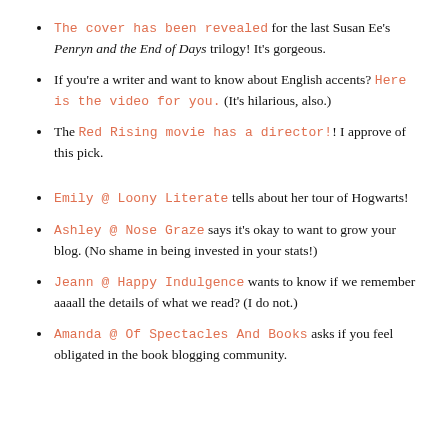The cover has been revealed for the last Susan Ee's Penryn and the End of Days trilogy! It's gorgeous.
If you're a writer and want to know about English accents? Here is the video for you. (It's hilarious, also.)
The Red Rising movie has a director!! I approve of this pick.
Emily @ Loony Literate tells about her tour of Hogwarts!
Ashley @ Nose Graze says it's okay to want to grow your blog. (No shame in being invested in your stats!)
Jeann @ Happy Indulgence wants to know if we remember aaaall the details of what we read? (I do not.)
Amanda @ Of Spectacles And Books asks if you feel obligated in the book blogging community.